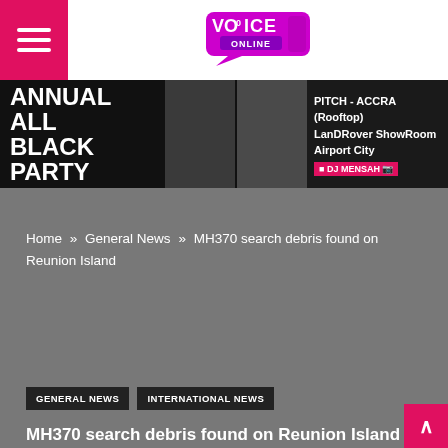Voice Online - hamburger menu and logo
[Figure (logo): Voice Online logo - purple speech bubble with thumbs up icon and text VOICE ONLINE]
[Figure (infographic): Annual All Black Party advertisement banner. Text: ANNUAL ALL BLACK PARTY, PITCH - ACCRA (Rooftop), LandRover ShowRoom, Airport City, DJ MENSAH. Shows photos of party attendees dressed in black.]
Home » General News » MH370 search debris found on Reunion Island
GENERAL NEWS
INTERNATIONAL NEWS
MH370 search debris found on Reunion Island